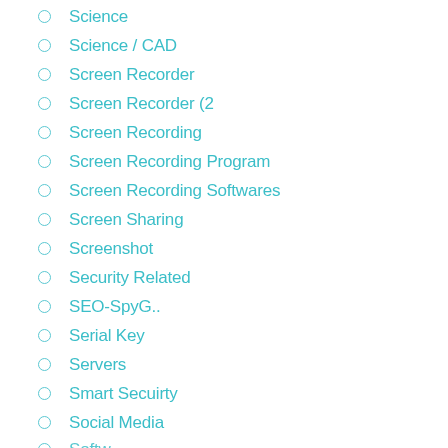Science
Science / CAD
Screen Recorder
Screen Recorder (2
Screen Recording
Screen Recording Program
Screen Recording Softwares
Screen Sharing
Screenshot
Security Related
SEO-SpyG..
Serial Key
Servers
Smart Secuirty
Social Media
Softw...